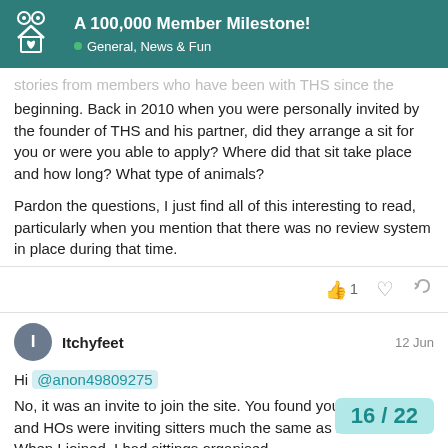A 100,000 Member Milestone! — General, News & Fun
stories from members who have been with THS since the beginning. Back in 2010 when you were personally invited by the founder of THS and his partner, did they arrange a sit for you or were you able to apply? Where did that sit take place and how long? What type of animals?
Pardon the questions, I just find all of this interesting to read, particularly when you mention that there was no review system in place during that time.
Itchyfeet — 12 Jun
Hi @anon49809275 No, it was an invite to join the site. You found your own sittings and HOs were inviting sitters much the same as now. When I joined, I had sittings organised
16 / 22